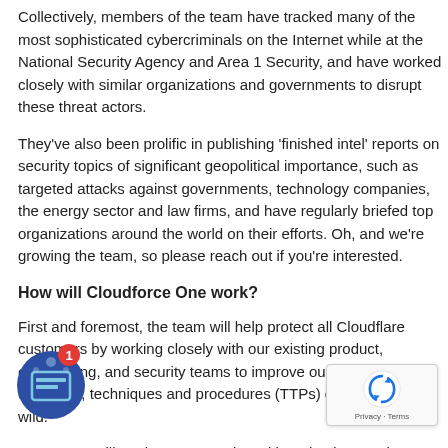Collectively, members of the team have tracked many of the most sophisticated cybercriminals on the Internet while at the National Security Agency and Area 1 Security, and have worked closely with similar organizations and governments to disrupt these threat actors.
They've also been prolific in publishing 'finished intel' reports on security topics of significant geopolitical importance, such as targeted attacks against governments, technology companies, the energy sector and law firms, and have regularly briefed top organizations around the world on their efforts. Oh, and we're growing the team, so please reach out if you're interested.
How will Cloudforce One work?
First and foremost, the team will help protect all Cloudflare customers by working closely with our existing product, engineering, and security teams to improve our products based on tactics, techniques and procedures (TTPs) observed in the wild.
Customers will get better protection without having to take any action, and will be able to read a subset of research published and within the Cloudflare Security Center.
Additionally, enterprise customers who wish to receive one live briefings from the team, submit periodic inquiries for follow up